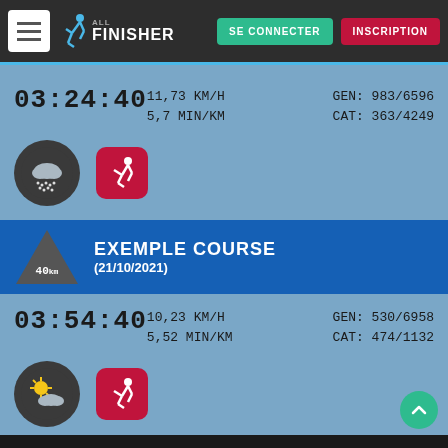ALL FINISHER — SE CONNECTER | INSCRIPTION
03:24:40  11,73 KM/H  5,7 MIN/KM  GEN: 983/6596  CAT: 363/4249
[Figure (screenshot): Weather icon (rain cloud) and running icon on blue background]
EXEMPLE COURSE (21/10/2021) — 40km
03:54:40  10,23 KM/H  5,52 MIN/KM  GEN: 530/6958  CAT: 474/1132
[Figure (screenshot): Partly sunny weather icon and running icon on blue background]